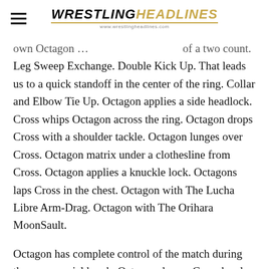WRESTLINGHEADLINES www.wrestlingheadlines.com
own Octagon … of a two count. Leg Sweep Exchange. Double Kick Up. That leads us to a quick standoff in the center of the ring. Collar and Elbow Tie Up. Octagon applies a side headlock. Cross whips Octagon across the ring. Octagon drops Cross with a shoulder tackle. Octagon lunges over Cross. Octagon matrix under a clothesline from Cross. Octagon applies a knuckle lock. Octagons laps Cross in the chest. Octagon with The Lucha Libre Arm-Drag. Octagon with The Orihara MoonSault.
Octagon has complete control of the match during the commercial break. Octagon dumps Cross head on the ring apron. Octagon rolls Cross back into the ring. Octagon back drops with the force…